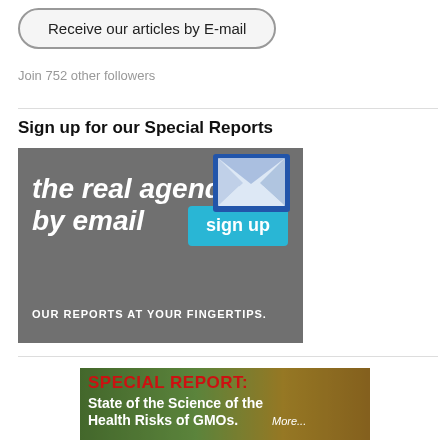Receive our articles by E-mail
Join 752 other followers
Sign up for our Special Reports
[Figure (infographic): Dark gray banner: 'the real agenda by email sign up — OUR REPORTS AT YOUR FINGERTIPS.' with blue envelope icon and cyan sign up button]
[Figure (infographic): Special Report banner with grain background: 'SPECIAL REPORT: State of the Science of the Health Risks of GMOs. More...']